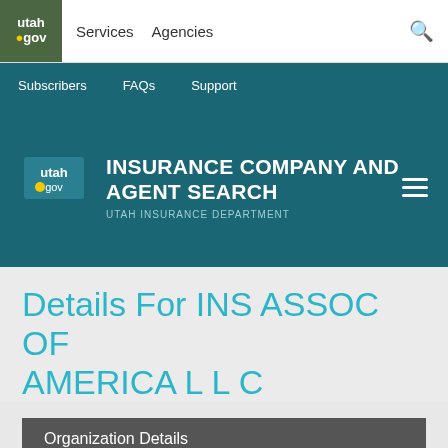utah.gov | Services | Agencies
Subscribers | FAQs | Support
INSURANCE COMPANY AND AGENT SEARCH
UTAH INSURANCE DEPARTMENT
Details For INS ASSOC OF AMERICA L L C
Organization Details
Name:
INS ASSOC OF AMERICA L L C